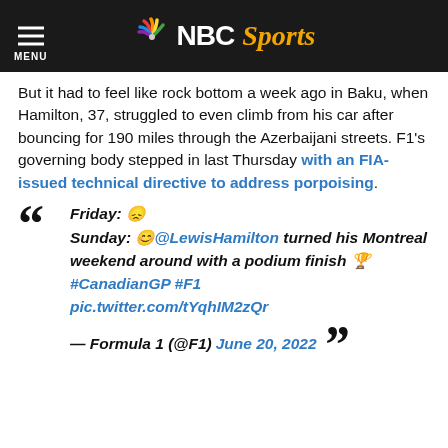NBC Sports
But it had to feel like rock bottom a week ago in Baku, when Hamilton, 37, struggled to even climb from his car after bouncing for 190 miles through the Azerbaijani streets. F1's governing body stepped in last Thursday with an FIA-issued technical directive to address porpoising.
Friday: 😞
Sunday: 😊@LewisHamilton turned his Montreal weekend around with a podium finish 🏆
#CanadianGP #F1
pic.twitter.com/tYqhIM2zQr

— Formula 1 (@F1) June 20, 2022